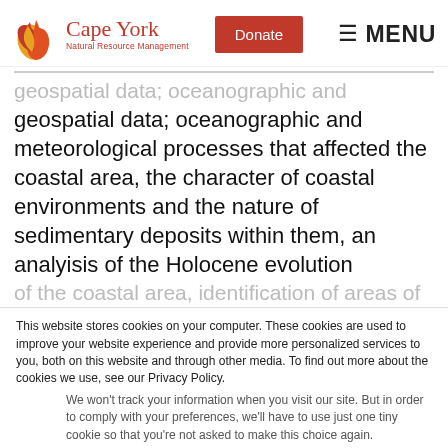[Figure (logo): Cape York Natural Resource Management logo with stylized leaf/flame icon and red text]
geospatial data; oceanographic and meteorological processes that affected the coastal area, the character of coastal environments and the nature of sedimentary deposits within them, an analyisis of the Holocene evolution of the coastal area, identification of areas of significant
This website stores cookies on your computer. These cookies are used to improve your website experience and provide more personalized services to you, both on this website and through other media. To find out more about the cookies we use, see our Privacy Policy.
We won't track your information when you visit our site. But in order to comply with your preferences, we'll have to use just one tiny cookie so that you're not asked to make this choice again.
Accept
Decline